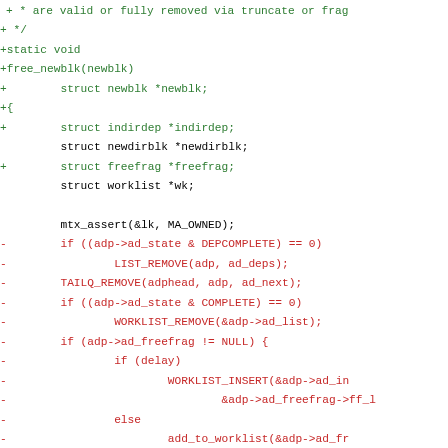Code diff showing additions (green) and removals (red) in C source code for free_newblk function